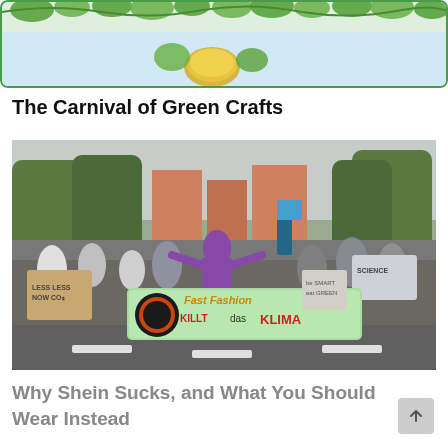[Figure (illustration): Top portion of a decorative illustration showing crafts with green leaves and golden/coin elements on a light blue-green background with a green border]
The Carnival of Green Crafts
[Figure (photo): A large protest march with people holding signs and a prominent banner reading 'Fast Fashion KILLT das KLIMA'. Signs visible include 'LESS LESS NOW CO2' and 'SCIENCE'. People fill the street with various protest signs in an outdoor urban setting.]
Why Shein Sucks, and What You Should Wear Instead